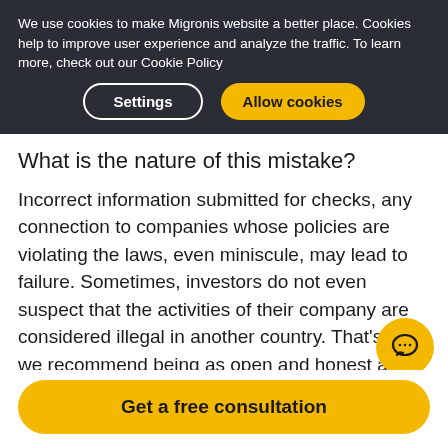We use cookies to make Migronis website a better place. Cookies help to improve user experience and analyze the traffic. To learn more, check out our Cookie Policy
What is the nature of this mistake?
Incorrect information submitted for checks, any connection to companies whose policies are violating the laws, even miniscule, may lead to failure. Sometimes, investors do not even suspect that the activities of their company are considered illegal in another country. That's why we recommend being as open and honest as possible. Transparency guarantees preventing all the risks and finding a solution before the verification starts. Be sure, the authorities are interested in getting
Get a free consultation